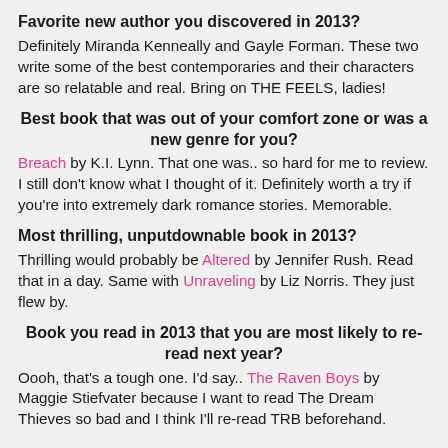Favorite new author you discovered in 2013?
Definitely Miranda Kenneally and Gayle Forman. These two write some of the best contemporaries and their characters are so relatable and real. Bring on THE FEELS, ladies!
Best book that was out of your comfort zone or was a new genre for you?
Breach by K.I. Lynn. That one was.. so hard for me to review. I still don't know what I thought of it. Definitely worth a try if you're into extremely dark romance stories. Memorable.
Most thrilling, unputdownable book in 2013?
Thrilling would probably be Altered by Jennifer Rush. Read that in a day. Same with Unraveling by Liz Norris. They just flew by.
Book you read in 2013 that you are most likely to re-read next year?
Oooh, that's a tough one. I'd say.. The Raven Boys by Maggie Stiefvater because I want to read The Dream Thieves so bad and I think I'll re-read TRB beforehand.